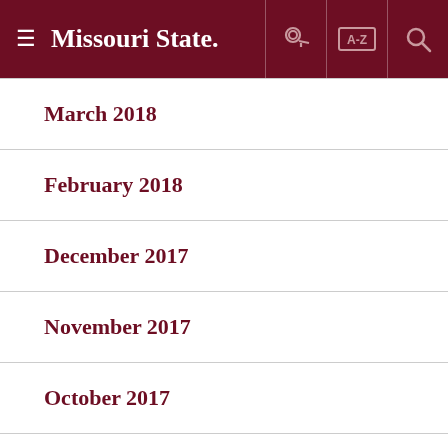Missouri State
March 2018
February 2018
December 2017
November 2017
October 2017
September 2017
August 2017
February 2017